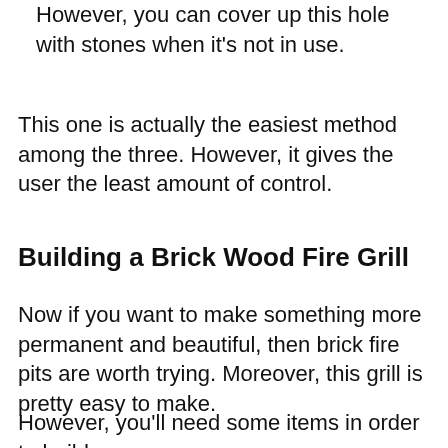However, you can cover up this hole with stones when it's not in use.
This one is actually the easiest method among the three. However, it gives the user the least amount of control.
Building a Brick Wood Fire Grill
Now if you want to make something more permanent and beautiful, then brick fire pits are worth trying. Moreover, this grill is pretty easy to make.
However, you'll need some items in order to build